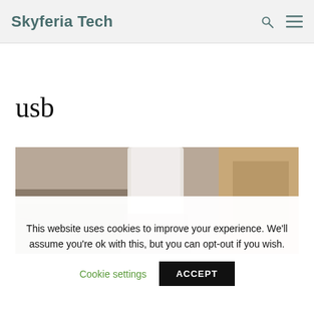Skyferia Tech
usb
[Figure (photo): Close-up photo of what appears to be a USB device or connector being held, with a blurred rocky background.]
This website uses cookies to improve your experience. We'll assume you're ok with this, but you can opt-out if you wish.
Cookie settings   ACCEPT